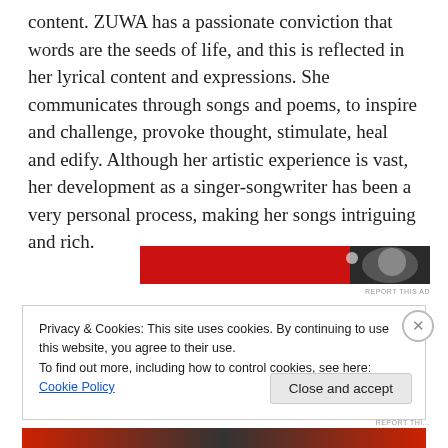content. ZUWA has a passionate conviction that words are the seeds of life, and this is reflected in her lyrical content and expressions. She communicates through songs and poems, to inspire and challenge, provoke thought, stimulate, heal and edify. Although her artistic experience is vast, her development as a singer-songwriter has been a very personal process, making her songs intriguing and rich.
[Figure (other): Red advertisement banner with dark right section containing a partially visible face/image]
REPORT THIS AD
Privacy & Cookies: This site uses cookies. By continuing to use this website, you agree to their use.
To find out more, including how to control cookies, see here: Cookie Policy
Close and accept